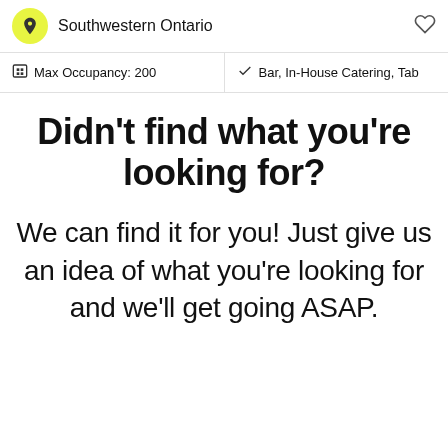Southwestern Ontario
Max Occupancy: 200   Bar, In-House Catering, Tab
Didn't find what you're looking for?
We can find it for you! Just give us an idea of what you're looking for and we'll get going ASAP.